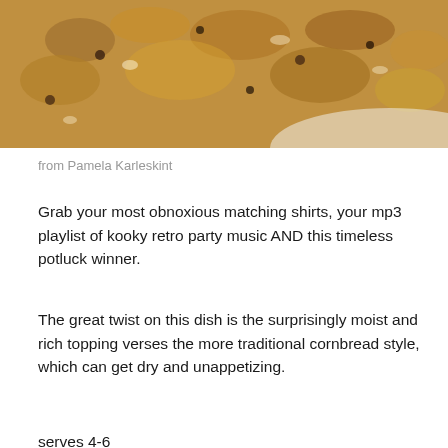[Figure (photo): Close-up photo of a crumbly, golden-brown casserole dish with ground meat and toppings on a white plate]
from Pamela Karleskint
Grab your most obnoxious matching shirts, your mp3 playlist of kooky retro party music AND this timeless potluck winner.
The great twist on this dish is the surprisingly moist and rich topping verses the more traditional cornbread style, which can get dry and unappetizing.
serves 4-6
1 pound of hamburger or turkey
1 envelope of taco seasonings